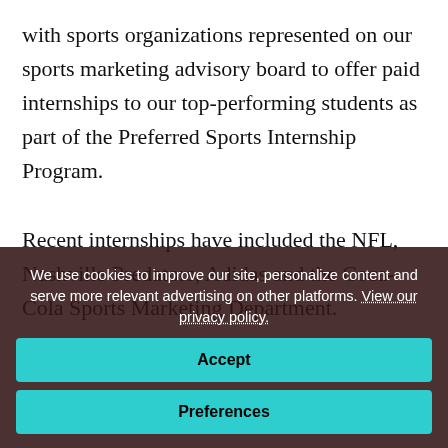with sports organizations represented on our sports marketing advisory board to offer paid internships to our top-performing students as part of the Preferred Sports Internship Program.

Recent internships have included the NFL, Nashville Predators, Adidas and the Coca-Cola Sports Marketing Department.
We use cookies to improve our site, personalize content and serve more relevant advertising on other platforms. View our privacy policy.
Accept
Preferences